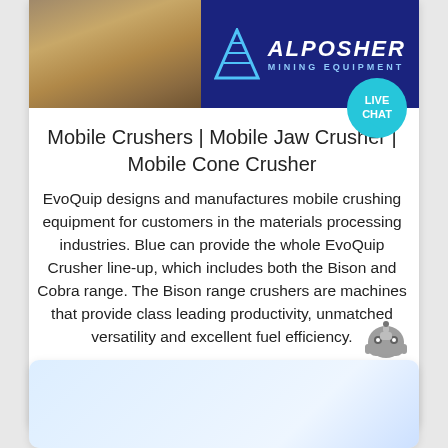[Figure (photo): Banner image showing mining/crushed stone materials on the left half and ALPOSHER Mining Equipment logo on the right half with blue background]
Mobile Crushers | Mobile Jaw Crusher | Mobile Cone Crusher
EvoQuip designs and manufactures mobile crushing equipment for customers in the materials processing industries. Blue can provide the whole EvoQuip Crusher line-up, which includes both the Bison and Cobra range. The Bison range crushers are machines that provide class leading productivity, unmatched versatility and excellent fuel efficiency.
[Figure (other): Blue rounded rectangle button with white text: view more]
[Figure (photo): Second card with light blue gradient background, partially visible at the bottom of the page]